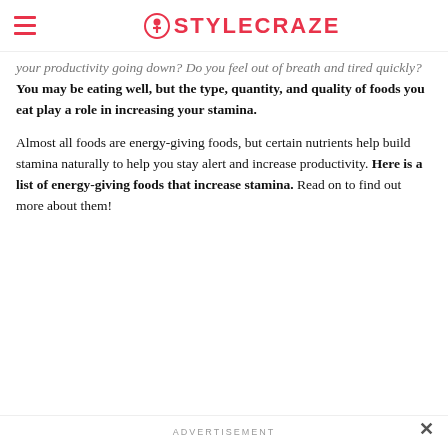STYLECRAZE
your productivity going down? Do you feel out of breath and tired quickly? You may be eating well, but the type, quantity, and quality of foods you eat play a role in increasing your stamina.
Almost all foods are energy-giving foods, but certain nutrients help build stamina naturally to help you stay alert and increase productivity. Here is a list of energy-giving foods that increase stamina. Read on to find out more about them!
ADVERTISEMENT